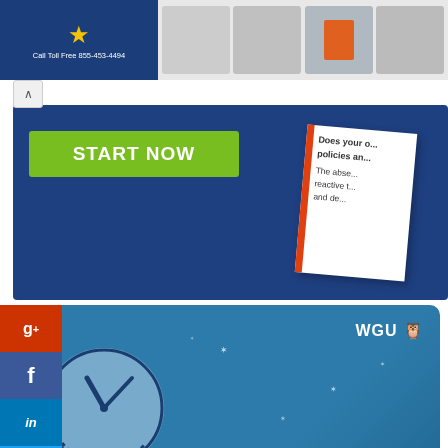[Figure (screenshot): Top banner ad showing a toll-free number 855-453-4494 with product images of industrial parts/components]
[Figure (screenshot): Middle banner ad with dark blue background and green START NOW button; partially visible book/document on right reading 'Does your o... policies an... The abse... reactive t... and de...']
[Figure (screenshot): WGU advertisement on teal/blue background showing a clock illustration with text 'I GOT MY DEGREE ON MY SCHEDULE.' in bold yellow italic text and WGU logo with owl]
[Figure (screenshot): Parts Hangar advertisement with logo, CLICK HERE red button, and 'Order Parts Found On This Website' text in dark blue]
[Figure (illustration): Social media sidebar buttons: Google+, Facebook, LinkedIn, Twitter, share icon, StumbleUpon]